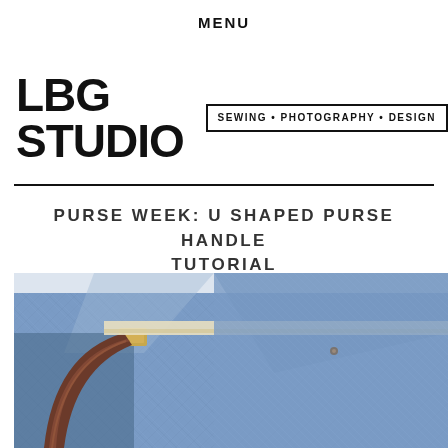MENU
LBG STUDIO
SEWING · PHOTOGRAPHY · DESIGN
PURSE WEEK: U SHAPED PURSE HANDLE TUTORIAL
[Figure (photo): Close-up photo of a blue textured fabric purse with a brown curved U-shaped handle and gold hardware attachment]